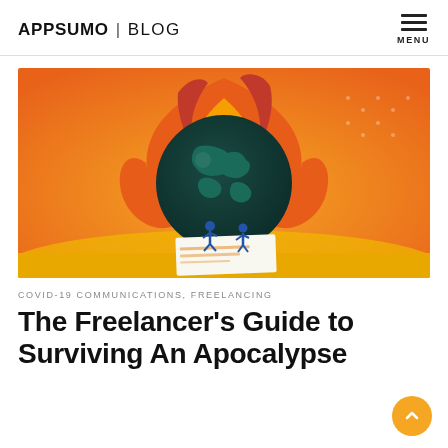APPSUMO | BLOG
[Figure (illustration): Illustration of the Earth on fire with two small human figures standing on a document/paper in front of it, set against an orange gradient background with flames surrounding the globe.]
COVID-19 COMMUNICATIONS, FREELANCING
The Freelancer's Guide to Surviving An Apocalypse